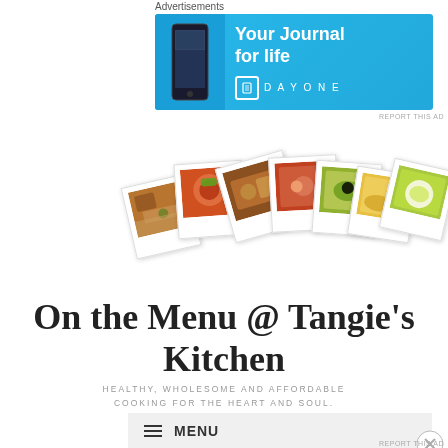[Figure (screenshot): Advertisement banner for DayOne app with blue background, phone image, text 'Your Journal for life' and DAYONE branding with book icon]
[Figure (photo): A strip of seven polaroid-style food photos fanned out, showing various dishes including casserole, bowl with guacamole, burger, seafood, avocado dish, crepe with cream, and an egg dish]
On the Menu @ Tangie's Kitchen
HEALTHY, WHOLESOME AND AFFORDABLE COOKING FOR THE HEART AND SOUL.
MENU
[Figure (screenshot): Bottom advertisement area with gray background, Advertisements label visible]